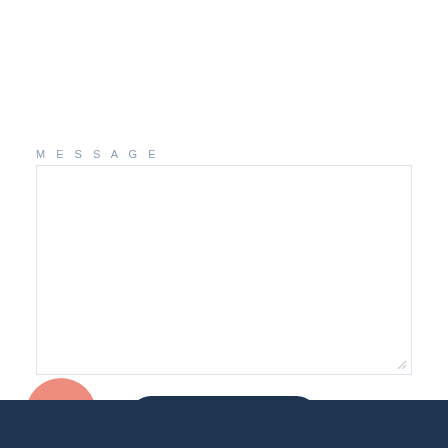MESSAGE
[Figure (screenshot): A textarea input field for message with a resize handle in the bottom right corner]
[Figure (other): SEND button - dark navy rounded pill-shaped button with white uppercase text]
[Figure (illustration): Circular peach/salmon colored icon with a white gift box symbol]
This site is protected by reCAPTCHA and the Google Privacy Policy and Terms of Service apply.